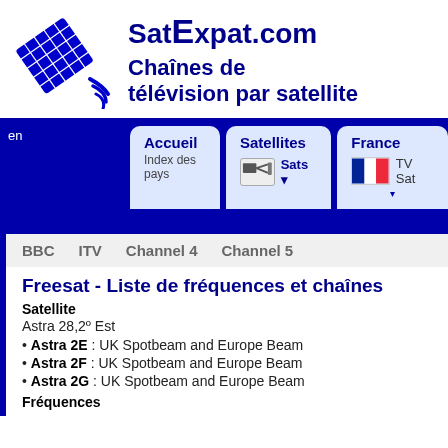[Figure (logo): SatExpat.com logo with satellite dish icon and text 'SatExpat.com Chaînes de télévision par satellite']
SatExpat.com
Chaînes de télévision par satellite
[Figure (screenshot): Navigation bar with tabs: Accueil / Index des pays, Satellites / Sats dropdown, France / TV Sat]
BBC   ITV   Channel 4   Channel 5
Freesat - Liste de fréquences et chaînes
Satellite
Astra 28,2º Est
Astra 2E : UK Spotbeam and Europe Beam
Astra 2F : UK Spotbeam and Europe Beam
Astra 2G : UK Spotbeam and Europe Beam
Fréquences